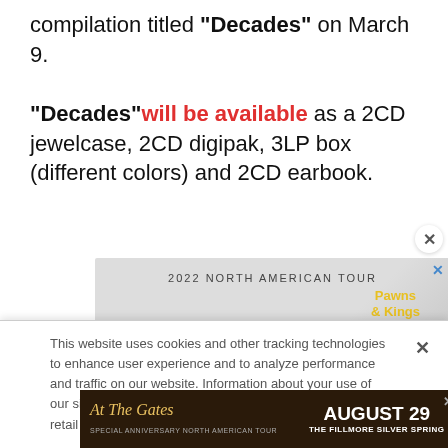compilation titled "Decades" on March 9.

"Decades" will be available as a 2CD jewelcase, 2CD digipak, 3LP box (different colors) and 2CD earbook.
[Figure (illustration): Alter Bridge 2022 North American Tour advertisement banner with golden logo and marble background, Pawns & Kings text]
This website uses cookies and other tracking technologies to enhance user experience and to analyze performance and traffic on our website. Information about your use of our site may also be shared with social media, advertising, retail and analytics providers and partners. Privacy Policy
[Figure (illustration): At The Gates special anniversary North American tour advertisement - August 29 The Fillmore Silver Spring]